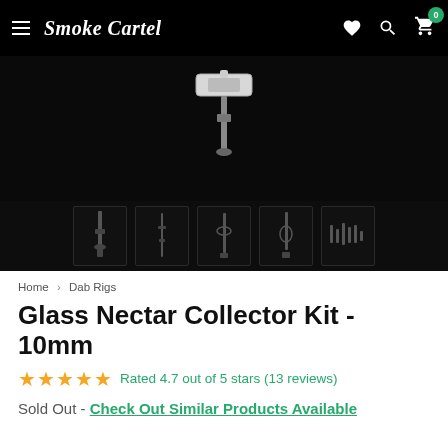Smoke Cartel
[Figure (photo): Product image of a Glass Nectar Collector Kit on black background, showing a glass piece with a white silicone tip]
[Figure (photo): Thumbnail strip showing five small product images of the Glass Nectar Collector Kit and related items on black background]
Home › Dab Rigs
Glass Nectar Collector Kit - 10mm
Rated 4.7 out of 5 stars (13 reviews)
Sold Out - Check Out Similar Products Available